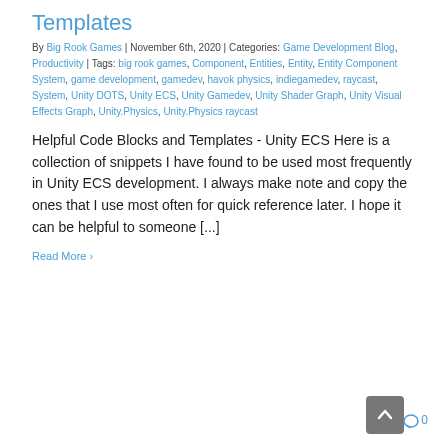Templates
By Big Rook Games | November 6th, 2020 | Categories: Game Development Blog, Productivity | Tags: big rook games, Component, Entities, Entity, Entity Component System, game development, gamedev, havok physics, indiegamedev, raycast, System, Unity DOTS, Unity ECS, Unity Gamedev, Unity Shader Graph, Unity Visual Effects Graph, Unity.Physics, Unity.Physics raycast
Helpful Code Blocks and Templates - Unity ECS Here is a collection of snippets I have found to be used most frequently in Unity ECS development. I always make note and copy the ones that I use most often for quick reference later. I hope it can be helpful to someone [...]
Read More 0